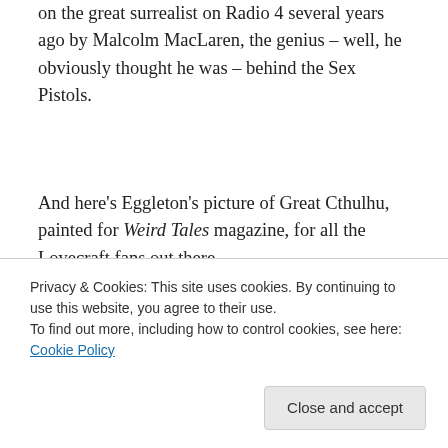on the great surrealist on Radio 4 several years ago by Malcolm MacLaren, the genius – well, he obviously thought he was – behind the Sex Pistols.
And here's Eggleton's picture of Great Cthulhu, painted for Weird Tales magazine, for all the Lovecraft fans out there.
[Figure (illustration): Painting of Great Cthulhu from Weird Tales magazine by Eggleton — dark reddish-brown background with a large red cratered planet/moon on the left and a golden-yellow creature silhouette with tentacles and claws raised on the right.]
Privacy & Cookies: This site uses cookies. By continuing to use this website, you agree to their use.
To find out more, including how to control cookies, see here: Cookie Policy